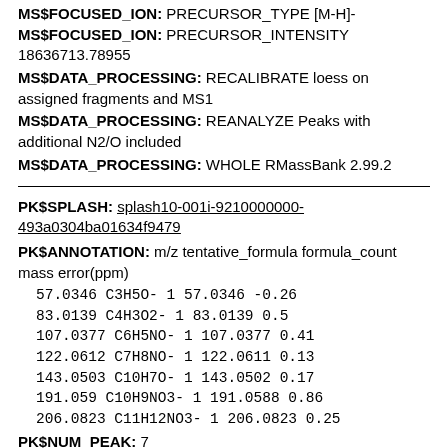MS$FOCUSED_ION: PRECURSOR_TYPE [M-H]-
MS$FOCUSED_ION: PRECURSOR_INTENSITY 18636713.78955
MS$DATA_PROCESSING: RECALIBRATE loess on assigned fragments and MS1
MS$DATA_PROCESSING: REANALYZE Peaks with additional N2/O included
MS$DATA_PROCESSING: WHOLE RMassBank 2.99.2
PK$SPLASH: splash10-001i-9210000000-493a0304ba01634f9479
PK$ANNOTATION: m/z tentative_formula formula_count mass error(ppm)
57.0346 C3H5O- 1 57.0346 -0.26
83.0139 C4H3O2- 1 83.0139 0.5
107.0377 C6H5NO- 1 107.0377 0.41
122.0612 C7H8NO- 1 122.0611 0.13
143.0503 C10H7O- 1 143.0502 0.17
191.059 C10H9NO3- 1 191.0588 0.86
206.0823 C11H12NO3- 1 206.0823 0.25
PK$NUM_PEAK: 7